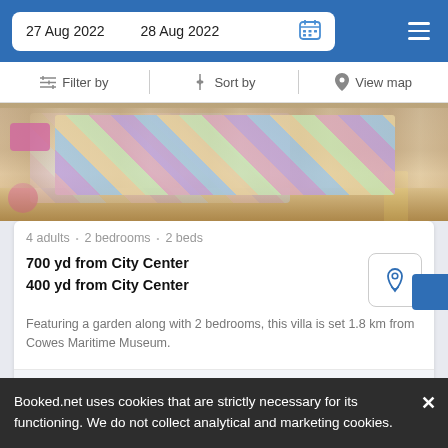27 Aug 2022  28 Aug 2022
Filter by  Sort by  View map
[Figure (photo): Hotel room with colorful quilted beds visible from above, warm lighting, pink chair accent]
4 adults • 2 bedrooms • 2 beds
700 yd from City Center
400 yd from City Center
Featuring a garden along with 2 bedrooms, this villa is set 1.8 km from Cowes Maritime Museum.
from  us$ 96/night  SELECT
Booked.net uses cookies that are strictly necessary for its functioning. We do not collect analytical and marketing cookies.